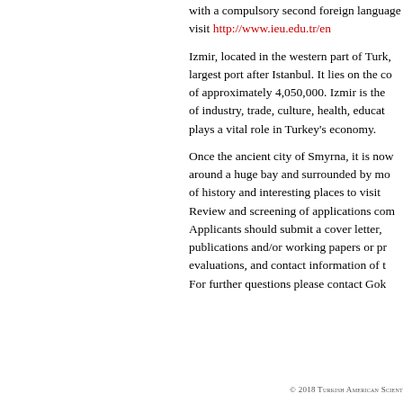with a compulsory second foreign language visit http://www.ieu.edu.tr/en
Izmir, located in the western part of Turkey, is the largest port after Istanbul. It lies on the coast of approximately 4,050,000. Izmir is the center of industry, trade, culture, health, education and plays a vital role in Turkey's economy.
Once the ancient city of Smyrna, it is now built around a huge bay and surrounded by mountains, full of history and interesting places to visit. Review and screening of applications commence. Applicants should submit a cover letter, publications and/or working papers or preprints, evaluations, and contact information of three. For further questions please contact Gok
© 2018 Turkish American Scientists